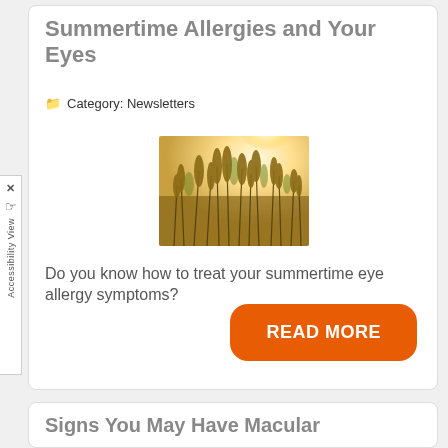Summertime Allergies and Your Eyes
Category: Newsletters
[Figure (photo): Close-up photo of grass or wheat stalks in warm golden sunlight, outdoor summer scene]
Do you know how to treat your summertime eye allergy symptoms?
READ MORE
Signs You May Have Macular